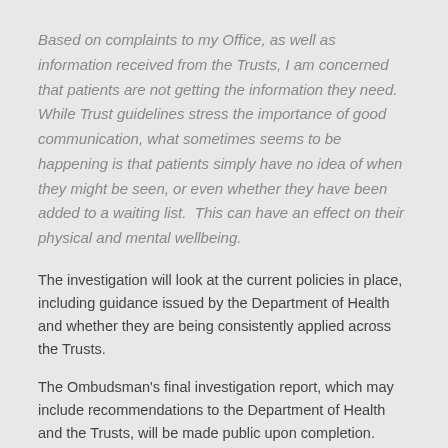Based on complaints to my Office, as well as information received from the Trusts, I am concerned that patients are not getting the information they need.  While Trust guidelines stress the importance of good communication, what sometimes seems to be happening is that patients simply have no idea of when they might be seen, or even whether they have been added to a waiting list.  This can have an effect on their physical and mental wellbeing.
The investigation will look at the current policies in place, including guidance issued by the Department of Health and whether they are being consistently applied across the Trusts.
The Ombudsman's final investigation report, which may include recommendations to the Department of Health and the Trusts, will be made public upon completion.